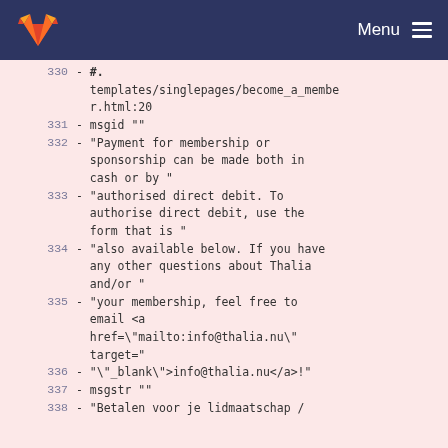Menu
330  #.
  templates/singlepages/become_a_member.html:20
331  msgid ""
332  - "Payment for membership or sponsorship can be made both in cash or by "
333  - "authorised direct debit. To authorise direct debit, use the form that is "
334  - "also available below. If you have any other questions about Thalia and/or "
335  - "your membership, feel free to email <a href=\"mailto:info@thalia.nu\" target="
336  - "\"_blank\">info@thalia.nu</a>!"
337  msgstr ""
338  - "Betalen voor je lidmaatschap /